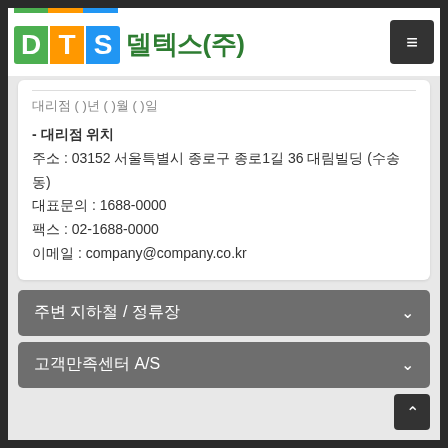[Figure (logo): DTS 델텍스(주) company logo with colored letter blocks D (green), T (orange), S (blue) and Korean company name in dark green]
- 대리점 위치
주소 : 03152 서울특별시 종로구 종로1길 36 대림빌딩 (수송동)
대표문의 : 1688-0000
팩스 : 02-1688-0000
이메일 : company@company.co.kr
주변 지하철 / 정류장
고객만족센터 A/S